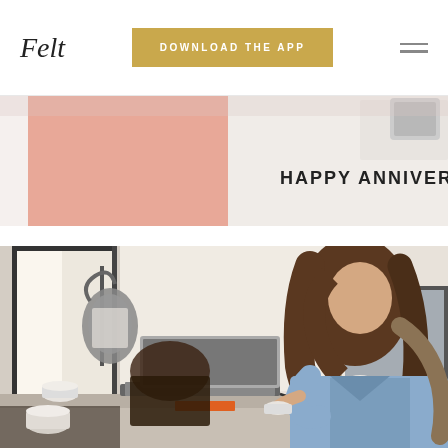Felt — DOWNLOAD THE APP — (hamburger menu)
[Figure (photo): Partial view of a greeting card with salmon/pink color on the left and text 'HAPPY ANNIVERSAR' (cropped) on white background on the right, with a black frame/phone image visible.]
[Figure (photo): A woman with long brown hair wearing a denim jacket stands at a desk holding a white cup, looking at a laptop. The setting appears to be a cafe or home workspace near a window. A bag hangs on the window frame to the left.]